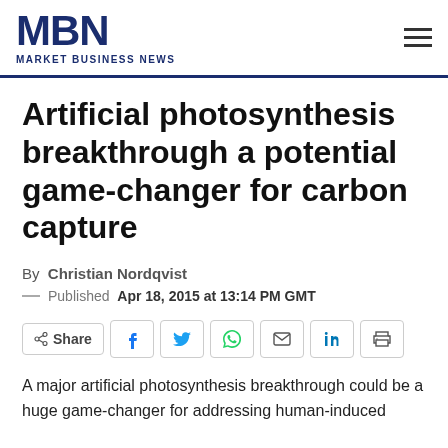MBN MARKET BUSINESS NEWS
Artificial photosynthesis breakthrough a potential game-changer for carbon capture
By Christian Nordqvist
— Published Apr 18, 2015 at 13:14 PM GMT
[Figure (other): Share buttons bar with icons for Share, Facebook, Twitter, WhatsApp, Email, LinkedIn, Print]
A major artificial photosynthesis breakthrough could be a huge game-changer for addressing human-induced